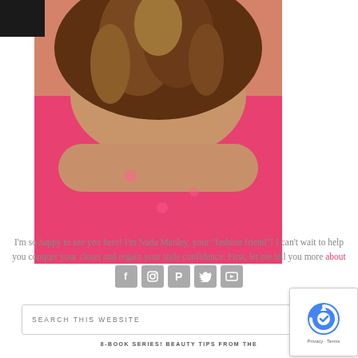[Figure (photo): Woman with long curly brown/auburn hair wearing a pink/red floral top, arms crossed, photographed from shoulders up]
I'm so happy to see you here! I'm Nada Manley, your "fashion friend"! I can't wait to help you conquer your closet and regain your style confidence. First, let me tell you more about me.
SEARCH THIS WEBSITE
[Figure (infographic): Row of 5 social media icon buttons: Facebook, Instagram, Pinterest, Twitter, YouTube — all in grey rounded-square style]
8-BOOK SERIES! BEAUTY TIPS FROM THE